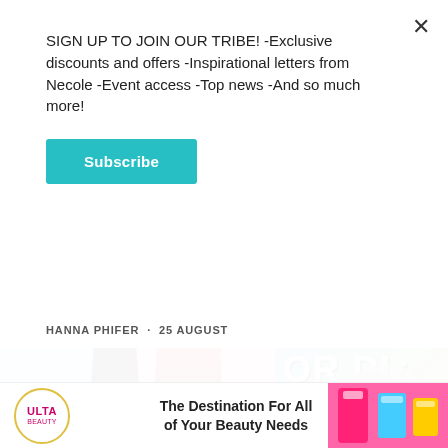SIGN UP TO JOIN OUR TRIBE! -Exclusive discounts and offers -Inspirational letters from Necole -Event access -Top news -And so much more!
Subscribe
HANNA PHIFER  ·  25 AUGUST
[Figure (illustration): Two book covers side by side. Left: 'Do You Take This Man' with illustrated wedding figures and cake. Right: 'OR DIE - A Feminist Manifesto' with colorful graffiti-style art of a woman.]
[Figure (illustration): Ulta Beauty advertisement banner: 'The Destination For All of Your Beauty Needs' with Ulta logo and beauty products.]